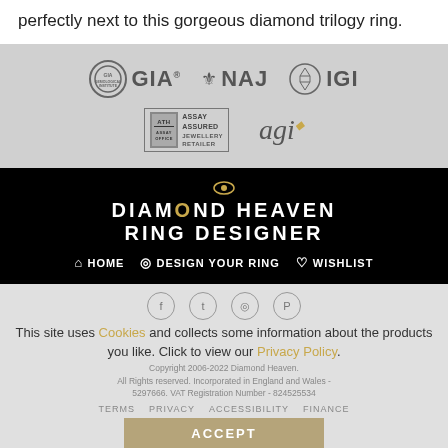perfectly next to this gorgeous diamond trilogy ring.
[Figure (logo): GIA, NAJ, IGI, Assay Assured Jewellery Retailer, and AGI logos on grey background]
[Figure (logo): Diamond Heaven Ring Designer black navigation bar with HOME, DESIGN YOUR RING, WISHLIST links]
This site uses Cookies and collects some information about the products you like. Click to view our Privacy Policy.
Copyright 2006-2022 Diamond Heaven. All Rights reserved. Incorporated in England and Wales - 5297666. VAT Registration Number - 824525534. TERMS  PRIVACY  ACCESSIBILITY  FINANCE